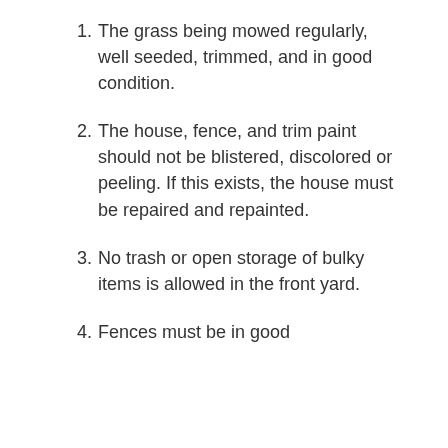1. The grass being mowed regularly, well seeded, trimmed, and in good condition.
2. The house, fence, and trim paint should not be blistered, discolored or peeling. If this exists, the house must be repaired and repainted.
3. No trash or open storage of bulky items is allowed in the front yard.
4. Fences must be in good...